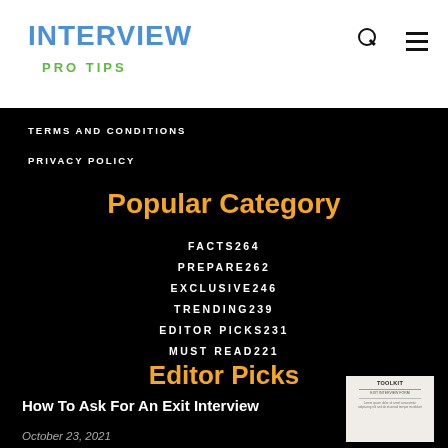INTERVIEW PRO TIPS
TERMS AND CONDITIONS
PRIVACY POLICY
Popular Category
FACTS264
PREPARE262
EXCLUSIVE246
TRENDING239
EDITOR PICKS231
MUST READ221
Editor Picks
How To Ask For An Exit Interview
October 23, 2021
[Figure (photo): Thumbnail image of an interview toolkit document]